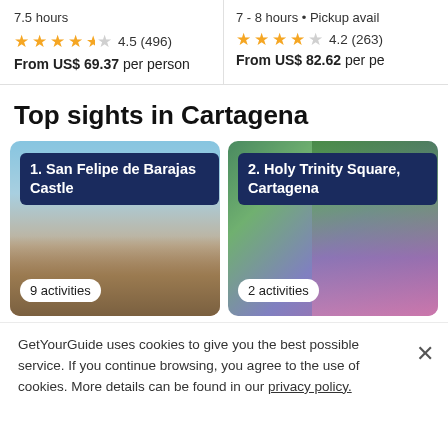7.5 hours
4.5 (496) From US$ 69.37 per person
7 - 8 hours · Pickup avail...
4.2 (263) From US$ 82.62 per pe...
Top sights in Cartagena
[Figure (photo): Sight card 1: San Felipe de Barajas Castle, a castle view with blue sky and stone walls. 9 activities.]
[Figure (photo): Sight card 2: Holy Trinity Square, Cartagena, colorful murals and tropical plants. 2 activities.]
GetYourGuide uses cookies to give you the best possible service. If you continue browsing, you agree to the use of cookies. More details can be found in our privacy policy.